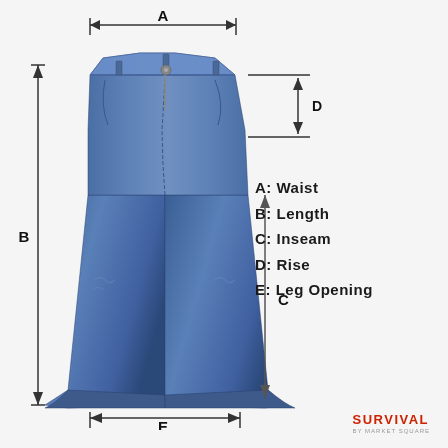[Figure (schematic): Diagram of a pair of jeans with measurement labels: A (Waist) shown as a horizontal double-headed arrow at the waistband, B (Length) shown as a vertical arrow along the outer left seam, C (Inseam) shown as a vertical arrow along the inner leg, D (Rise) shown as a vertical double-headed arrow between two horizontal lines at the hip, E (Leg Opening) shown as a horizontal double-headed arrow at the bottom hem. The jeans are blue denim flare style.]
A: Waist
B: Length
C: Inseam
D: Rise
E: Leg Opening
SURVIVAL